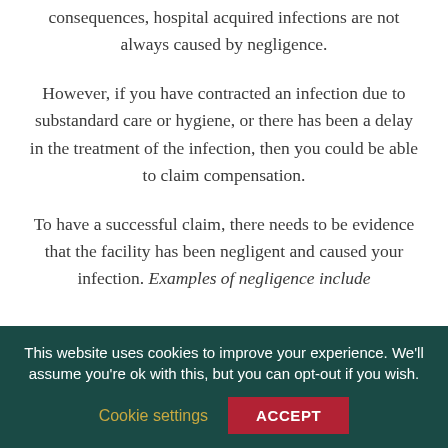consequences, hospital acquired infections are not always caused by negligence.
However, if you have contracted an infection due to substandard care or hygiene, or there has been a delay in the treatment of the infection, then you could be able to claim compensation.
To have a successful claim, there needs to be evidence that the facility has been negligent and caused your infection. Examples of negligence include
This website uses cookies to improve your experience. We'll assume you're ok with this, but you can opt-out if you wish.
Cookie settings
ACCEPT